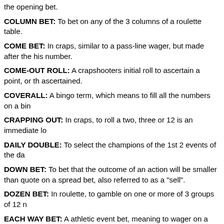the opening bet.
COLUMN BET: To bet on any of the 3 columns of a roulette table.
COME BET: In craps, similar to a pass-line wager, but made after the his number.
COME-OUT ROLL: A crapshooters initial roll to ascertain a point, or th ascertained.
COVERALL: A bingo term, which means to fill all the numbers on a bin
CRAPPING OUT: In craps, to roll a two, three or 12 is an immediate lo
DAILY DOUBLE: To select the champions of the 1st 2 events of the da
DOWN BET: To bet that the outcome of an action will be smaller than quote on a spread bet, also referred to as a "sell".
DOZEN BET: In roulette, to gamble on one or more of 3 groups of 12 n
EACH WAY BET: A athletic event bet, meaning to wager on a group or in a match.
EVEN MONEY BET: A bet that pays the identical amount as bet, ( 1:1
EXACTA: laying odds that 2 horses in a contest will finish in the absol wager – also known as a " Perfecta ".
FIVE-NUMBER LINE BET: In roulette, a wager made on a grouping of